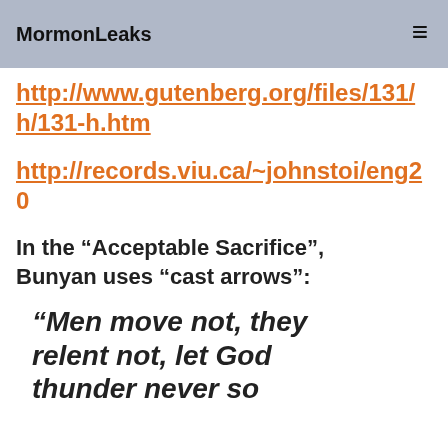MormonLeaks
http://www.gutenberg.org/files/131/131-h/131-h.htm
http://records.viu.ca/~johnstoi/eng20
In the “Acceptable Sacrifice”, Bunyan uses “cast arrows”:
“Men move not, they relent not, let God thunder never so